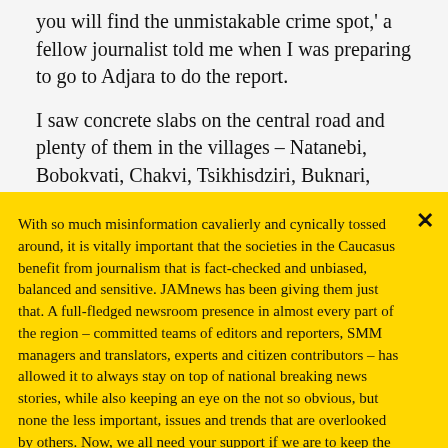you will find the unmistakable crime spot,' a fellow journalist told me when I was preparing to go to Adjara to do the report.
I saw concrete slabs on the central road and plenty of them in the villages – Natanebi, Bobokvati, Chakvi, Tsikhisdziri, Buknari, Green Cape, and Makhinjauri. I also found them in
With so much misinformation cavalierly and cynically tossed around, it is vitally important that the societies in the Caucasus benefit from journalism that is fact-checked and unbiased, balanced and sensitive. JAMnews has been giving them just that. A full-fledged newsroom presence in almost every part of the region – committed teams of editors and reporters, SMM managers and translators, experts and citizen contributors – has allowed it to always stay on top of national breaking news stories, while also keeping an eye on the not so obvious, but none the less important, issues and trends that are overlooked by others. Now, we all need your support if we are to keep the
Support JAMnews →